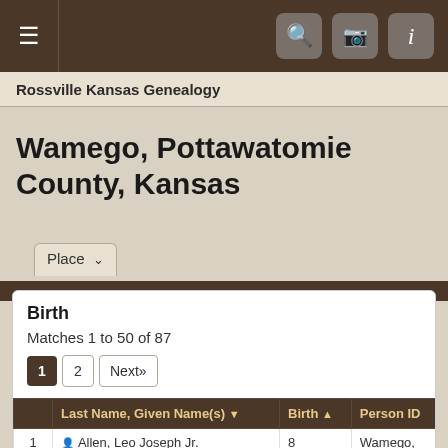≡ [hamburger menu] [search icon] [camera icon] [i icon]
Rossville Kansas Genealogy
Wamego, Pottawatomie County, Kansas
Place [dropdown]
Birth
Matches 1 to 50 of 87
1  2  Next»
|  | Last Name, Given Name(s) | Birth | Person ID |
| --- | --- | --- | --- |
| 1 | Allen, Leo Joseph Jr. | 8 Jun | Wamego, Pottawatomie I28506 |